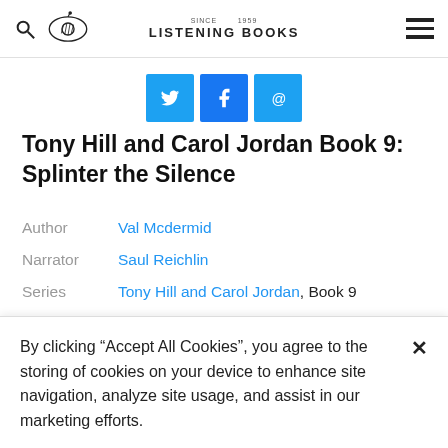Listening Books
[Figure (other): Social share buttons: Twitter (bird icon), Facebook (f icon), Email (@ icon)]
Tony Hill and Carol Jordan Book 9: Splinter the Silence
| Author | Val Mcdermid |
| Narrator | Saul Reichlin |
| Series | Tony Hill and Carol Jordan, Book 9 |
| Duration | 12h 47m |
| Categories | Adult Fiction, Crime, Thriller and |
By clicking “Accept All Cookies”, you agree to the storing of cookies on your device to enhance site navigation, analyze site usage, and assist in our marketing efforts.